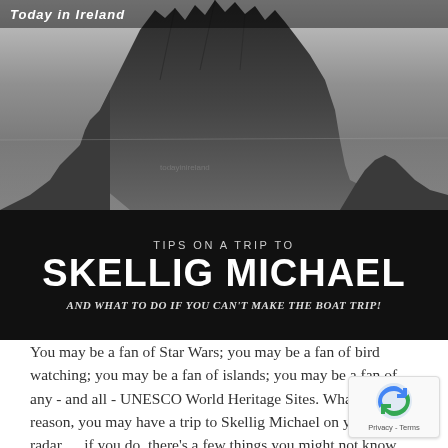Today in Ireland
[Figure (photo): Black and white photograph of Skellig Michael rocky island peaks rising from the sea, dramatic jagged rock formations against a grey sky and ocean.]
TIPS ON A TRIP TO
SKELLIG MICHAEL
AND WHAT TO DO IF YOU CAN'T MAKE THE BOAT TRIP!
You may be a fan of Star Wars; you may be a fan of bird watching; you may be a fan of islands; you may be a fan of any - and all - UNESCO World Heritage Sites. Whatever your reason, you may have a trip to Skellig Michael on your radar..... if you do, there's a few things you might not know about visiting this spectacular island off the coast of Southwest County Kerry, Ireland.